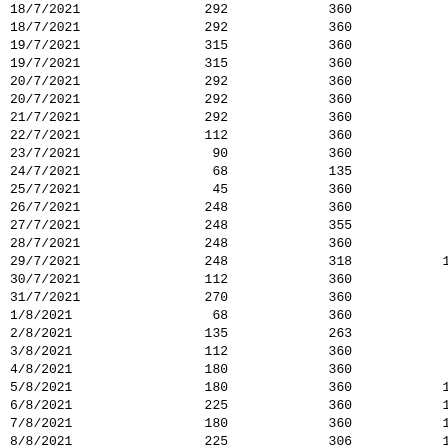| 18/7/2021 | 292 | 360 | 5 | 2 |
| 18/7/2021 | 292 | 360 | 5 | 2 |
| 19/7/2021 | 315 | 360 | 5 | 2 |
| 19/7/2021 | 315 | 360 | 5 | 2 |
| 20/7/2021 | 292 | 360 | 5 | 3 |
| 20/7/2021 | 292 | 360 | 5 | 3 |
| 21/7/2021 | 292 | 360 | 5 | 3 |
| 22/7/2021 | 112 | 360 | 5 | 3 |
| 23/7/2021 | 90 | 360 | 5 | 8 |
| 24/7/2021 | 68 | 135 | 12 | 9 |
| 25/7/2021 | 45 | 360 | 5 | 5 |
| 26/7/2021 | 248 | 360 | 0 | 3 |
| 27/7/2021 | 248 | 355 | 16 | 3 |
| 28/7/2021 | 248 | 360 | 67 | 7 |
| 29/7/2021 | 248 | 318 | 126 | 9 |
| 30/7/2021 | 112 | 360 | 5 | 8 |
| 31/7/2021 | 270 | 360 | 5 | 4 |
| 1/8/2021 | 68 | 360 | 5 | 3 |
| 2/8/2021 | 135 | 263 | 31 | 3 |
| 3/8/2021 | 112 | 360 | 5 | 2 |
| 4/8/2021 | 180 | 360 | 15 | 3 |
| 5/8/2021 | 180 | 360 | 112 | 7 |
| 6/8/2021 | 225 | 360 | 146 | 10 |
| 7/8/2021 | 180 | 360 | 150 | 9 |
| 8/8/2021 | 225 | 306 | 191 | 10 |
| 9/8/2021 | 180 | 355 | 5 | 6 |
| 10/8/2021 | 248 | 329 | 161 | 5 |
| 11/8/2021 | 225 | 286 | 132 | 6 |
| 12/8/2021 | 225 | 360 | 173 | 6 |
| 13/8/2021 | 225 | 284 | 151 | 9 |